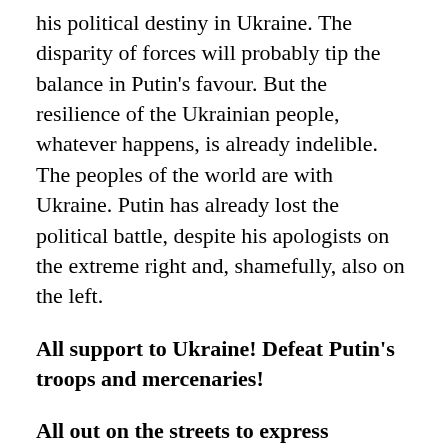his political destiny in Ukraine. The disparity of forces will probably tip the balance in Putin's favour. But the resilience of the Ukrainian people, whatever happens, is already indelible. The peoples of the world are with Ukraine. Putin has already lost the political battle, despite his apologists on the extreme right and, shamefully, also on the left.
All support to Ukraine! Defeat Putin's troops and mercenaries!
All out on the streets to express solidarity with the independence of Ukraine and the